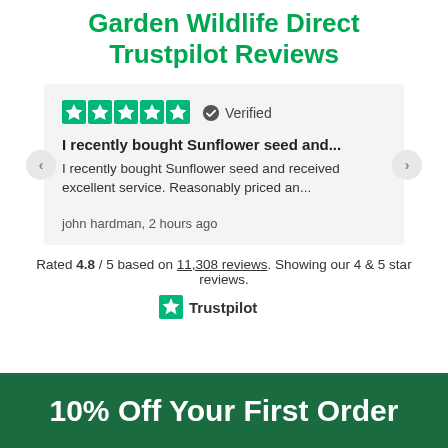Garden Wildlife Direct Trustpilot Reviews
[Figure (screenshot): Trustpilot review card with 5 green stars, Verified badge, review title 'I recently bought Sunflower seed and...', review body 'I recently bought Sunflower seed and received excellent service. Reasonably priced an...', reviewer name 'john hardman, 2 hours ago'. Navigation arrows on left and right.]
Rated 4.8 / 5 based on 11,308 reviews. Showing our 4 & 5 star reviews.
[Figure (logo): Trustpilot logo with green star]
10% Off Your First Order